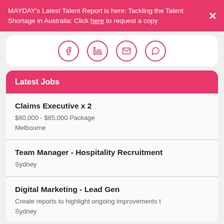MAYDAY's Latest Talent Report is here: Tackling the Talent Shortage in Australia: Click here to request a copy
[Figure (infographic): Social sharing icons: Facebook, LinkedIn, Email, WhatsApp — circles with pink outlines]
Latest Jobs
Claims Executive x 2 | $80,000 - $85,000 Package | Melbourne
Team Manager - Hospitality Recruitment | Sydney
Digital Marketing - Lead Gen | Create reports to highlight ongoing improvements t | Sydney